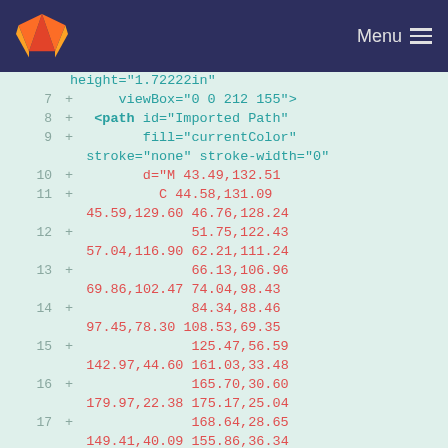GitLab — Menu
height="1.72222in"
7  +      viewBox="0 0 212 155">
8  +   <path id="Imported Path"
9  +         fill="currentColor"
         stroke="none" stroke-width="0"
10 +         d="M 43.49,132.51
11 +           C 44.58,131.09
         45.59,129.60 46.76,128.24
12 +               51.75,122.43
         57.04,116.90 62.21,111.24
13 +               66.13,106.96
         69.86,102.47 74.04,98.43
14 +               84.34,88.46
         97.45,78.30 108.53,69.35
15 +               125.47,56.59
         142.97,44.60 161.03,33.48
16 +               165.70,30.60
         179.97,22.38 175.17,25.04
17 +               168.64,28.65
         149.41,40.09 155.86,36.34